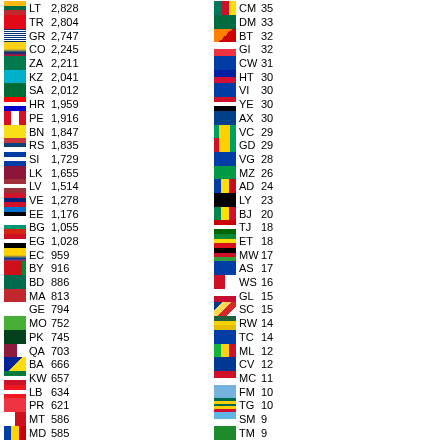| Flag | Code | Value | Flag | Code | Value |
| --- | --- | --- | --- | --- | --- |
| LT | 2,828 | CM | 35 |
| TR | 2,804 | DM | 33 |
| GR | 2,747 | BT | 32 |
| CO | 2,245 | GI | 32 |
| ZA | 2,211 | CW | 31 |
| KZ | 2,041 | HT | 30 |
| SA | 2,012 | VI | 30 |
| HR | 1,959 | YE | 30 |
| PE | 1,916 | AX | 30 |
| BN | 1,847 | VC | 29 |
| RS | 1,835 | GD | 29 |
| SI | 1,729 | VG | 28 |
| LK | 1,655 | MZ | 26 |
| LV | 1,514 | AD | 24 |
| VE | 1,278 | LY | 23 |
| EE | 1,176 | BJ | 20 |
| BG | 1,055 | TJ | 18 |
| EG | 1,028 | ET | 18 |
| EC | 959 | MW | 17 |
| BY | 916 | AS | 17 |
| BD | 886 | WS | 16 |
| MA | 813 | GL | 15 |
| GE | 794 | SC | 15 |
| MO | 752 | RW | 14 |
| PK | 745 | TC | 14 |
| QA | 703 | ML | 12 |
| BA | 666 | CV | 12 |
| KW | 657 | MC | 11 |
| LB | 634 | FM | 10 |
| PR | 621 | TG | 10 |
| MT | 586 | SM | 9 |
| MD | 585 | TM | 9 |
| TN | 568 | AT | 8 |